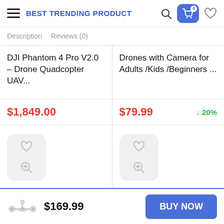BEST TRENDING PRODUCT
Description   Reviews (0)
DJI Phantom 4 Pro V2.0 – Drone Quadcopter UAV...
Drones with Camera for Adults /Kids /Beginners ...
$1,849.00
$79.99   ↓ 20%
[Figure (screenshot): Two product action panels with heart (wishlist) and zoom icons]
$169.99
BUY NOW